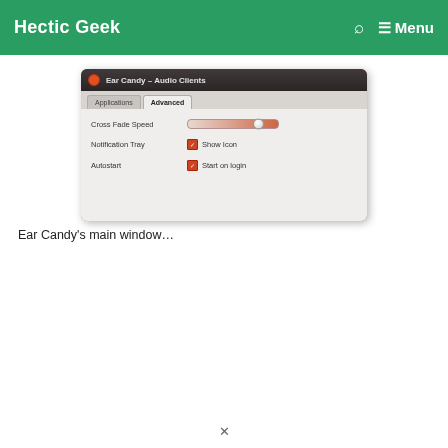Hectic Geek   🔍   ☰ Menu
[Figure (screenshot): Screenshot of the Ear Candy – Audio Clients application window showing the Advanced tab with settings for Cross Fade Speed (slider near max), Notification Tray with Show icon checkbox checked, and Autostart with Start on login checkbox checked.]
Ear Candy's main window…